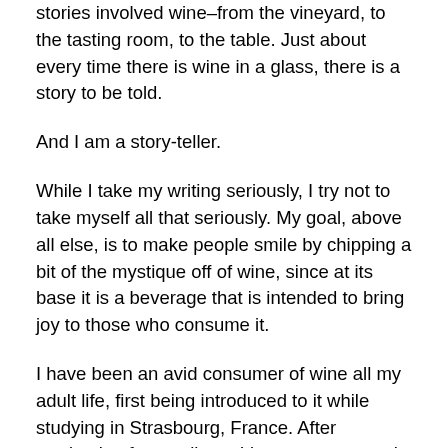stories involved wine–from the vineyard, to the tasting room, to the table. Just about every time there is wine in a glass, there is a story to be told.
And I am a story-teller.
While I take my writing seriously, I try not to take myself all that seriously. My goal, above all else, is to make people smile by chipping a bit of the mystique off of wine, since at its base it is a beverage that is intended to bring joy to those who consume it.
I have been an avid consumer of wine all my adult life, first being introduced to it while studying in Strasbourg, France. After graduating from college, I began my career in education as a high school teacher of French, math, and history. During the summer, I would relocate to France, spending the warmer months as a cycling tour